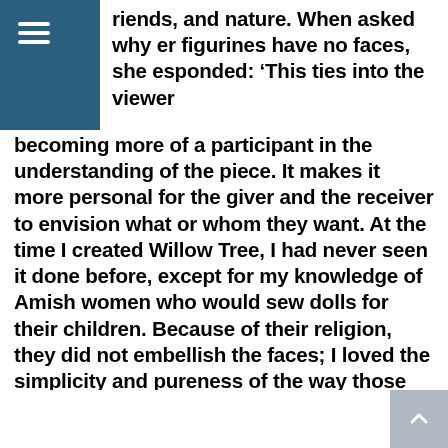riends, and nature. When asked why er figurines have no faces, she esponded: ‘This ties into the viewer becoming more of a participant in the understanding of the piece. It makes it more personal for the giver and the receiver to envision what or whom they want. At the time I created Willow Tree, I had never seen it done before, except for my knowledge of Amish women who would sew dolls for their children. Because of their religion, they did not embellish the faces; I loved the simplicity and pureness of the way those dolls looked. It’s the perfect example of ‘less is more’ – what is missing can speak volumes. Simplicity of form is one of my guidelines.”